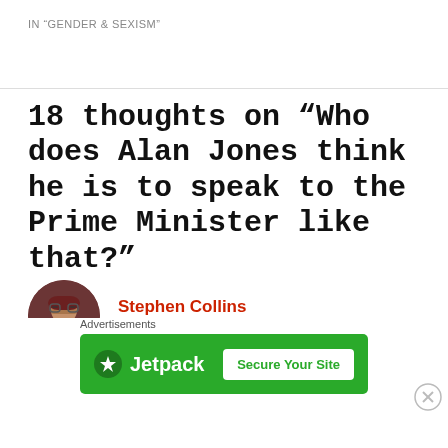IN "GENDER & SEXISM"
18 thoughts on “Who does Alan Jones think he is to speak to the Prime Minister like that?”
Stephen Collins
25 FEBRUARY 2011 AT 8:50 PM
Kate, here’s a counterpoint of sorts.
[Figure (other): Jetpack advertisement banner with logo and 'Secure Your Site' button on green background]